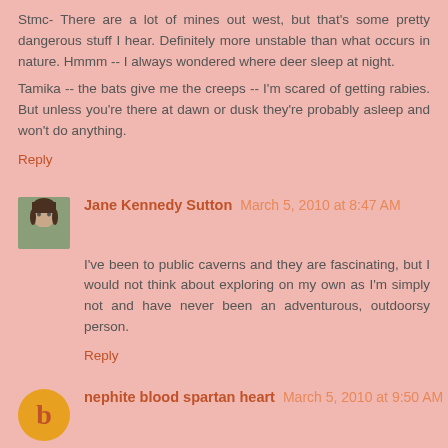Stmc- There are a lot of mines out west, but that's some pretty dangerous stuff I hear. Definitely more unstable than what occurs in nature. Hmmm -- I always wondered where deer sleep at night.
Tamika -- the bats give me the creeps -- I'm scared of getting rabies. But unless you're there at dawn or dusk they're probably asleep and won't do anything.
Reply
Jane Kennedy Sutton  March 5, 2010 at 8:47 AM
I've been to public caverns and they are fascinating, but I would not think about exploring on my own as I'm simply not and have never been an adventurous, outdoorsy person.
Reply
nephite blood spartan heart  March 5, 2010 at 9:50 AM
"I always wonder if continuing a just for the adventure but it'll